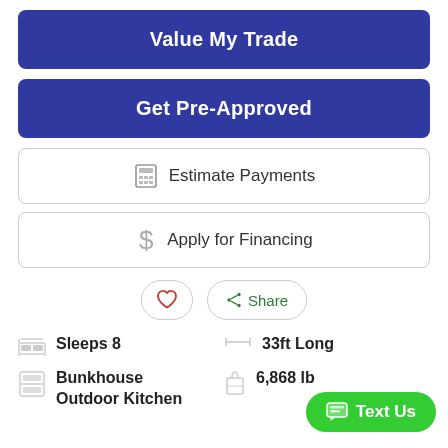[Figure (other): Blue button: Value My Trade]
[Figure (other): Blue button: Get Pre-Approved]
[Figure (other): Outlined button with calculator icon: Estimate Payments]
[Figure (other): Outlined button with dollar sign icon: Apply for Financing]
[Figure (other): Heart (favorite) button and Share button]
Sleeps 8
33ft Long
Bunkhouse Outdoor Kitchen
6,868 lb
[Figure (other): Green Text Us chat button at bottom right]